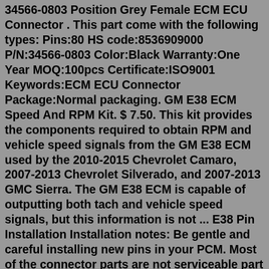34566-0803 Position Grey Female ECM ECU Connector . This part come with the following types: Pins:80 HS code:8536909000 P/N:34566-0803 Color:Black Warranty:One Year MOQ:100pcs Certificate:ISO9001 Keywords:ECM ECU Connector Package:Normal packaging. GM E38 ECM Speed And RPM Kit. $ 7.50. This kit provides the components required to obtain RPM and vehicle speed signals from the GM E38 ECM used by the 2010-2015 Chevrolet Camaro, 2007-2013 Chevrolet Silverado, and 2007-2013 GMC Sierra. The GM E38 ECM is capable of outputting both tach and vehicle speed signals, but this information is not ... E38 Pin Installation Installation notes: Be gentle and careful installing new pins in your PCM. Most of the connector parts are not serviceable part numbers and have to be special ordered. We do have a supplier for them so if you are to break something let us know and we help you get a new one on the way. To Install Pin 1.. "/> GM E38 ECM Speed And RPM Kit. $ 7.50. This kit provides the components required to obtain